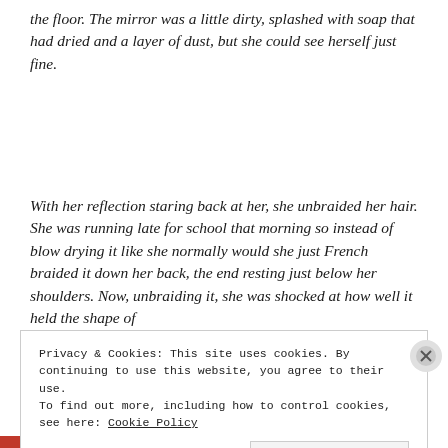the floor. The mirror was a little dirty, splashed with soap that had dried and a layer of dust, but she could see herself just fine.
With her reflection staring back at her, she unbraided her hair. She was running late for school that morning so instead of blow drying it like she normally would she just French braided it down her back, the end resting just below her shoulders. Now, unbraiding it, she was shocked at how well it held the shape of
Privacy & Cookies: This site uses cookies. By continuing to use this website, you agree to their use.
To find out more, including how to control cookies, see here: Cookie Policy
Close and accept